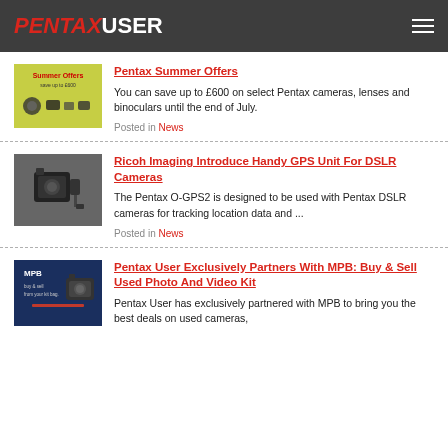PENTAX USER
[Figure (photo): Pentax Summer Offers promotional banner with cameras on yellow-green background]
Pentax Summer Offers
You can save up to £600 on select Pentax cameras, lenses and binoculars until the end of July.
Posted in News
[Figure (photo): Pentax DSLR camera with GPS unit attached, dark background]
Ricoh Imaging Introduce Handy GPS Unit For DSLR Cameras
The Pentax O-GPS2 is designed to be used with Pentax DSLR cameras for tracking location data and ...
Posted in News
[Figure (photo): MPB Buy and Sell Used Photo and Video Kit banner on dark blue background]
Pentax User Exclusively Partners With MPB: Buy & Sell Used Photo And Video Kit
Pentax User has exclusively partnered with MPB to bring you the best deals on used cameras,